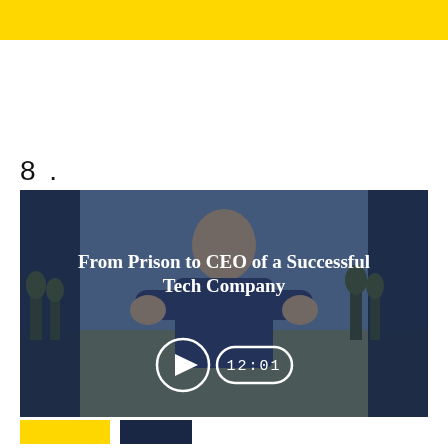8.
[Figure (screenshot): Video thumbnail showing a man outdoors with trees in background, overlaid with dark blue tint. Title text reads 'From Prison to CEO of a Successful Tech Company'. Controls show a play button and duration badge '12:01'.]